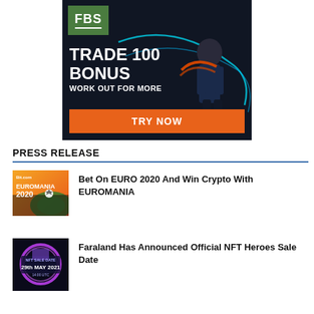[Figure (infographic): FBS broker advertisement banner. Dark background with athlete doing battle rope exercise. Green FBS logo top-left. Large white bold text: TRADE 100 BONUS, WORK OUT FOR MORE. Orange 'TRY NOW' button at bottom.]
PRESS RELEASE
[Figure (illustration): Euromania thumbnail - orange and yellow background with soccer field, text: Bit.com EUROMANIA 2020]
Bet On EURO 2020 And Win Crypto With EUROMANIA
[Figure (illustration): Faraland NFT Heroes thumbnail - dark background with purple glow, text: NFT SALE DATE 29th MAY 2021 14:00 UTC]
Faraland Has Announced Official NFT Heroes Sale Date